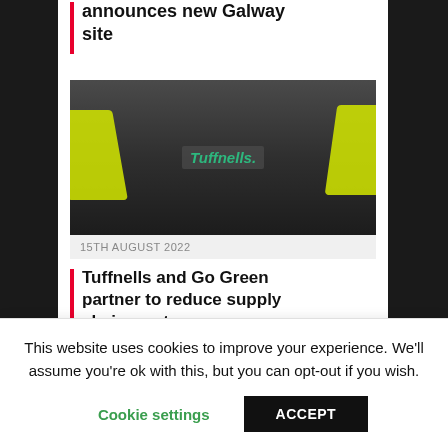announces new Galway site
[Figure (photo): Person wearing a Tuffnells branded uniform/jacket with yellow high-visibility sleeves]
15TH AUGUST 2022
Tuffnells and Go Green partner to reduce supply chain waste
[Figure (photo): Cloudy sky, greyscale/muted tones]
This website uses cookies to improve your experience. We'll assume you're ok with this, but you can opt-out if you wish.
Cookie settings   ACCEPT